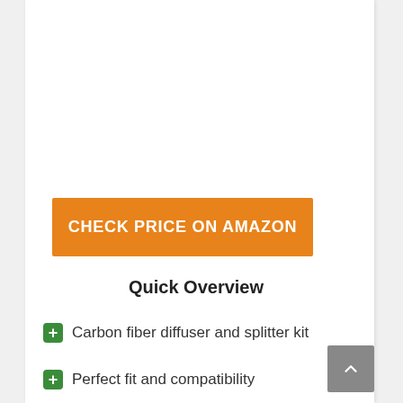CHECK PRICE ON AMAZON
Quick Overview
Carbon fiber diffuser and splitter kit
Perfect fit and compatibility